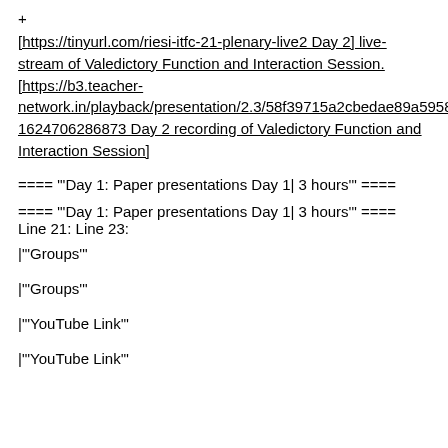+
[https://tinyurl.com/riesi-itfc-21-plenary-live2 Day 2] live-stream of Valedictory Function and Interaction Session. [https://b3.teacher-network.in/playback/presentation/2.3/58f39715a2cbedae89a59586f1c94c6401d94eff-1624706286873 Day 2 recording of Valedictory Function and Interaction Session]
==== "'Day 1: Paper presentations Day 1| 3 hours'" ====
==== "'Day 1: Paper presentations Day 1| 3 hours'" ====
Line 21: Line 23:
|"'Groups'"
|"'Groups'"
|"'YouTube Link'"
|"'YouTube Link'"